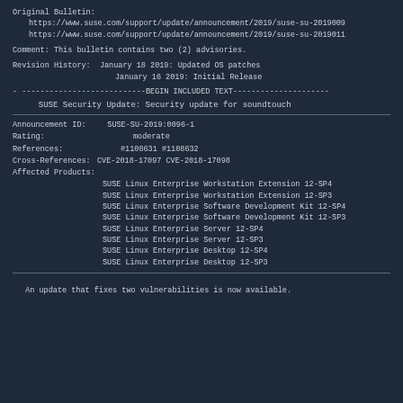Original Bulletin:
  https://www.suse.com/support/update/announcement/2019/suse-su-2019009
  https://www.suse.com/support/update/announcement/2019/suse-su-2019011
Comment: This bulletin contains two (2) advisories.
Revision History:  January 18 2019: Updated OS patches
                   January 16 2019: Initial Release
- ---------------------------BEGIN INCLUDED TEXT---------------------
SUSE Security Update: Security update for soundtouch
Announcement ID:    SUSE-SU-2019:0096-1
Rating:             moderate
References:         #1108631 #1108632
Cross-References:   CVE-2018-17097 CVE-2018-17098
Affected Products:
  SUSE Linux Enterprise Workstation Extension 12-SP4
  SUSE Linux Enterprise Workstation Extension 12-SP3
  SUSE Linux Enterprise Software Development Kit 12-SP4
  SUSE Linux Enterprise Software Development Kit 12-SP3
  SUSE Linux Enterprise Server 12-SP4
  SUSE Linux Enterprise Server 12-SP3
  SUSE Linux Enterprise Desktop 12-SP4
  SUSE Linux Enterprise Desktop 12-SP3
An update that fixes two vulnerabilities is now available.